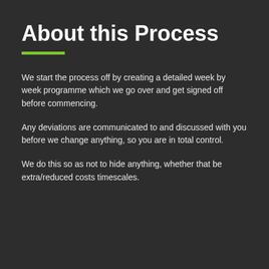About this Process
We start the process off by creating a detailed week by week programme which we go over and get signed off before commencing.
Any deviations are communicated to and discussed with you before we change anything, so you are in total control.
We do this so as not to hide anything, whether that be extra/reduced costs timescales.